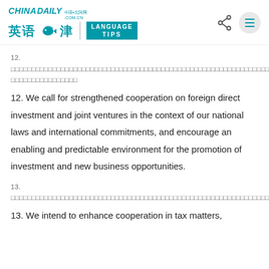CHINADAILY .COM.CN 英语点津 | LANGUAGE TIPS
12. [Chinese text]
12. We call for strengthened cooperation on foreign direct investment and joint ventures in the context of our national laws and international commitments, and encourage an enabling and predictable environment for the promotion of investment and new business opportunities.
13. [Chinese text]
13. We intend to enhance cooperation in tax matters,